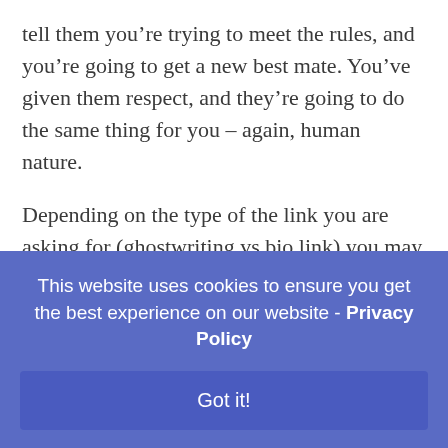tell them you're trying to meet the rules, and you're going to get a new best mate. You've given them respect, and they're going to do the same thing for you – again, human nature.
Depending on the type of the link you are asking for (ghostwriting vs bio link) you may want to include an authority link. Many people still live in the dark ages where they feel that communicating to other places will harm them. In that case, you don't want to connect out, but
This website uses cookies to ensure you get the best experience on our website - Privacy Policy
Got it!